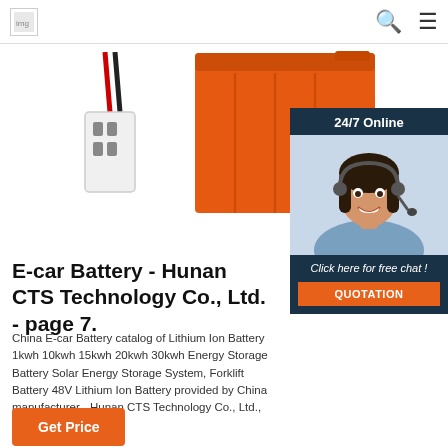[Figure (photo): Two product images: a small battery pack with red/black wires and white connector on the left, and a large orange rectangular lithium battery box on the right]
[Figure (photo): 24/7 online chat widget with a photo of a smiling woman with a headset, dark navy background, 'Click here for free chat!' text, and an orange QUOTATION button]
E-car Battery - Hunan CTS Technology Co., Ltd. - page 7.
China E-car Battery catalog of Lithium Ion Battery 1kwh 10kwh 15kwh 20kwh 30kwh Energy Storage Battery Solar Energy Storage System, Forklift Battery 48V Lithium Ion Battery provided by China manufacturer - Hunan CTS Technology Co., Ltd., page7.
Get Price